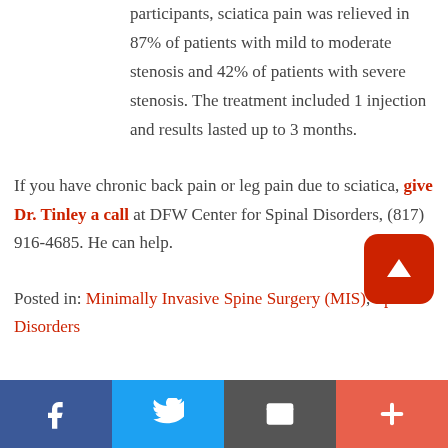participants, sciatica pain was relieved in 87% of patients with mild to moderate stenosis and 42% of patients with severe stenosis. The treatment included 1 injection and results lasted up to 3 months.
If you have chronic back pain or leg pain due to sciatica, give Dr. Tinley a call at DFW Center for Spinal Disorders, (817) 916-4685. He can help.
Posted in: Minimally Invasive Spine Surgery (MIS), Spinal Disorders
[Figure (other): Back to top button - red rounded square with upward arrow]
Social sharing bar with Facebook, Twitter, Email, and Plus buttons